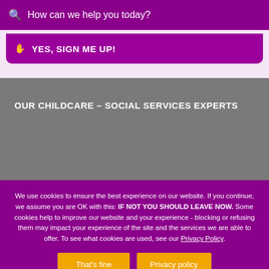How can we help you today?
YES, SIGN ME UP!
OUR CHILDCARE – SOCIAL SERVICES EXPERTS
We use cookies to ensure the best experience on our website. If you continue, we assume you are OK with this: IF NOT YOU SHOULD LEAVE NOW. Some cookies help to improve our website and your experience - blocking or refusing them may impact your experience of the site and the services we are able to offer. To see what cookies are used, see our Privacy Policy.
That's fine
Privacy policy